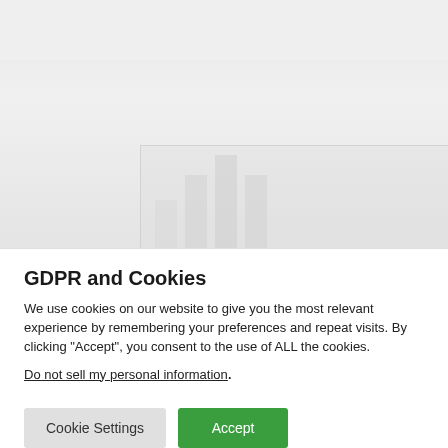[Figure (photo): Faded background photo showing bar chart or laboratory/data visualization imagery with green animated loading dots overlay]
GDPR and Cookies
We use cookies on our website to give you the most relevant experience by remembering your preferences and repeat visits. By clicking “Accept”, you consent to the use of ALL the cookies.
Do not sell my personal information.
Cookie Settings  Accept